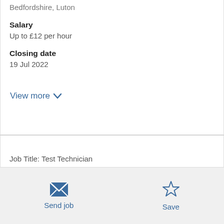Bedfordshire, Luton
Salary
Up to £12 per hour
Closing date
19 Jul 2022
View more
Job Title: Test Technician
Location: Luton
Send job
Save